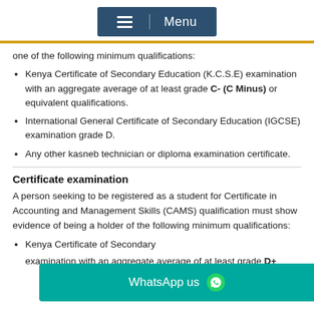Menu
one of the following minimum qualifications:
Kenya Certificate of Secondary Education (K.C.S.E) examination with an aggregate average of at least grade C- (C Minus) or equivalent qualifications.
International General Certificate of Secondary Education (IGCSE) examination grade D.
Any other kasneb technician or diploma examination certificate.
Certificate examination
A person seeking to be registered as a student for Certificate in Accounting and Management Skills (CAMS) qualification must show evidence of being a holder of the following minimum qualifications:
Kenya Certificate of Secondary examination with an aggregate average of at least grade D+